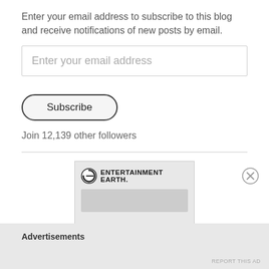Enter your email address to subscribe to this blog and receive notifications of new posts by email.
Enter your email address
Subscribe
Join 12,139 other followers
[Figure (other): Entertainment Earth advertisement banner showing logo, tagline 'Action Figures. Toys. Collectibles.' and a Shop Now button]
Advertisements
REPORT THIS AD